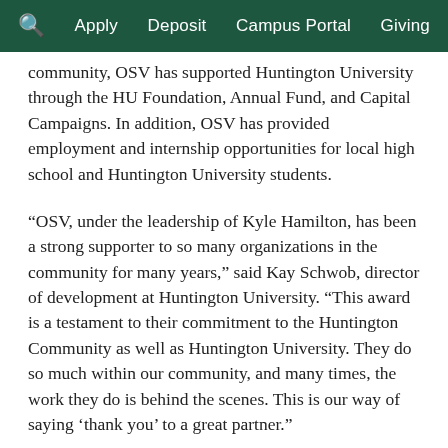Apply  Deposit  Campus Portal  Giving
community, OSV has supported Huntington University through the HU Foundation, Annual Fund, and Capital Campaigns. In addition, OSV has provided employment and internship opportunities for local high school and Huntington University students.
“OSV, under the leadership of Kyle Hamilton, has been a strong supporter to so many organizations in the community for many years,” said Kay Schwob, director of development at Huntington University. “This award is a testament to their commitment to the Huntington Community as well as Huntington University. They do so much within our community, and many times, the work they do is behind the scenes. This is our way of saying ‘thank you’ to a great partner.”
Past Distinguished Service Award Recipients
2002 Gene Snowden & Harold “Potch” Wheeler
2003 Kay LaMont and Ted Bendall
2004 Steve Zahn
2005 Ned Kiser